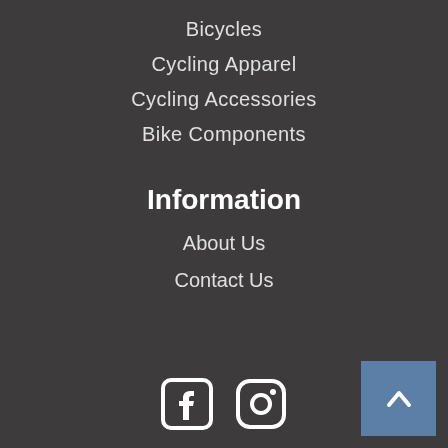Bicycles
Cycling Apparel
Cycling Accessories
Bike Components
Information
About Us
Contact Us
[Figure (illustration): Facebook and Instagram social media icons at bottom center, and a back-to-top button (blue square with upward chevron) at bottom right]